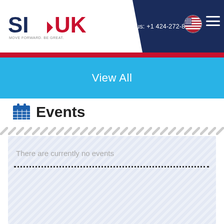SI-UK | MOVE FORWARD. BE GREAT. | Call us: +1 424-272-8610
View All
Events
There are currently no events